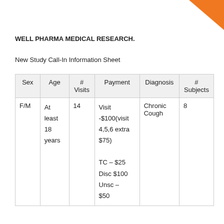[Figure (logo): Orange triangle logo in top-right corner]
WELL PHARMA MEDICAL RESEARCH.
New Study Call-In Information Sheet
| Sex | Age | # Visits | Payment | Diagnosis | # Subjects |
| --- | --- | --- | --- | --- | --- |
| F/M | At least 18 years | 14 | Visit -$100(visit 4,5,6 extra $75)

TC – $25
Disc $100
Unsc – $50 | Chronic Cough | 8 |